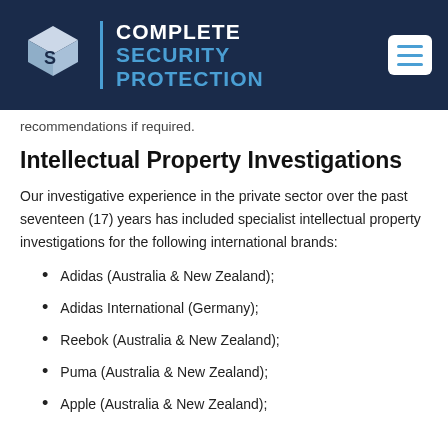[Figure (logo): Complete Security Protection logo with shield/cube icon, white and blue text on dark navy background, with hamburger menu icon]
recommendations if required.
Intellectual Property Investigations
Our investigative experience in the private sector over the past seventeen (17) years has included specialist intellectual property investigations for the following international brands:
Adidas (Australia & New Zealand);
Adidas International (Germany);
Reebok (Australia & New Zealand);
Puma (Australia & New Zealand);
Apple (Australia & New Zealand);